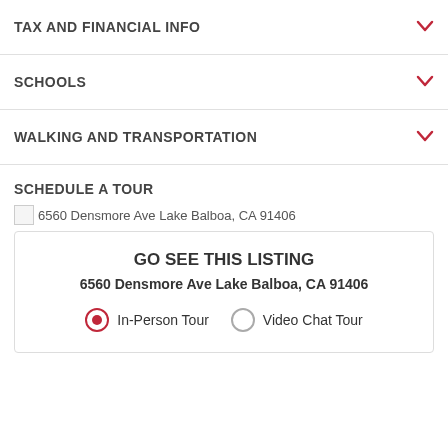TAX AND FINANCIAL INFO
SCHOOLS
WALKING AND TRANSPORTATION
SCHEDULE A TOUR
6560 Densmore Ave Lake Balboa, CA 91406
GO SEE THIS LISTING
6560 Densmore Ave Lake Balboa, CA 91406
In-Person Tour  Video Chat Tour